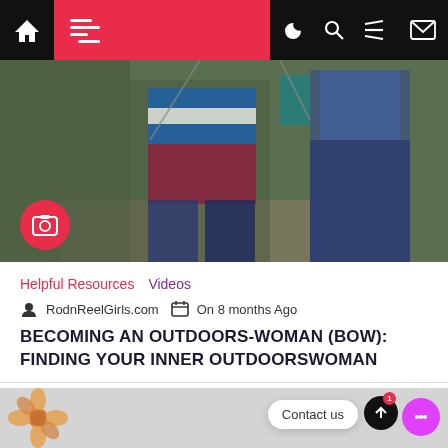[Figure (screenshot): Mobile website navigation bar with home icon, hamburger menu on red background, moon/search/menu icons, and email icon on black background]
[Figure (photo): Photo of children fishing outdoors, wearing striped shirts and jeans, near water with fishing rods]
Helpful Resources   Videos
RodnReelGirls.com   On 8 months Ago
BECOMING AN OUTDOORS-WOMAN (BOW): FINDING YOUR INNER OUTDOORSWOMAN
[Figure (screenshot): Bottom card area with flower decoration, Contact us bubble, scroll-up button, and pink chat button with notification badge]